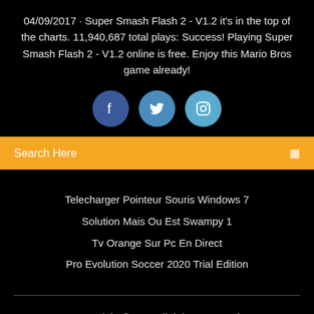04/09/2017 · Super Smash Flash 2 - V1.2 it's in the top of the charts. 11,940,687 total plays: Success! Playing Super Smash Flash 2 - V1.2 online is free. Enjoy this Mario Bros game already!
[Figure (illustration): Three social media icon buttons: Facebook (dark blue circle), Twitter (medium blue circle), Instagram (light blue circle)]
Search Here
Telecharger Pointeur Souris Windows 7
Solution Mais Ou Est Swampy 1
Tv Orange Sur Pc En Direct
Pro Evolution Soccer 2020 Trial Edition
Copyright ©2022 All rights reserved